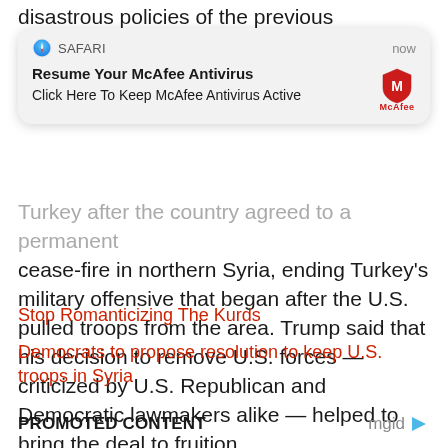disastrous policies of the previous Administration in
[Figure (screenshot): Safari browser notification popup overlay. Header shows Safari compass icon, 'SAFARI' app name, and 'now' timestamp. Body shows bold title 'Resume Your McAfee Antivirus', subtitle 'Click Here To Keep McAfee Antivirus Active', and McAfee red shield logo on the right.]
Turkey after the country agreed to a permanent cease-fire in northern Syria, ending Turkey's military offensive that began after the U.S. pulled troops from the area. Trump said that his decision to remove U.S. forces — criticized by U.S. Republican and Democratic lawmakers alike — helped to bring the deal to fruition.
Stop Romanticizing The Kurds
Democrats to propose resolution to keep U.S. troops in Syria
PROMOTED CONTENT